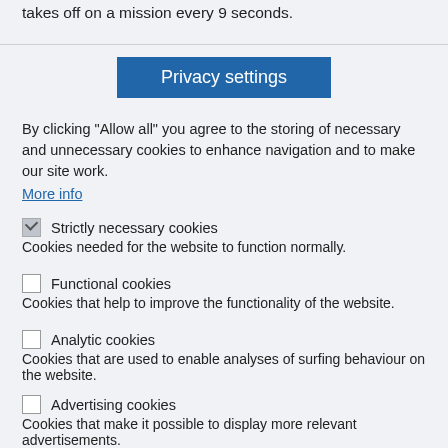takes off on a mission every 9 seconds.
Privacy settings
By clicking “Allow all” you agree to the storing of necessary and unnecessary cookies to enhance navigation and to make our site work.
More info
Strictly necessary cookies
Cookies needed for the website to function normally.
Functional cookies
Cookies that help to improve the functionality of the website.
Analytic cookies
Cookies that are used to enable analyses of surfing behaviour on the website.
Advertising cookies
Cookies that make it possible to display more relevant advertisements.